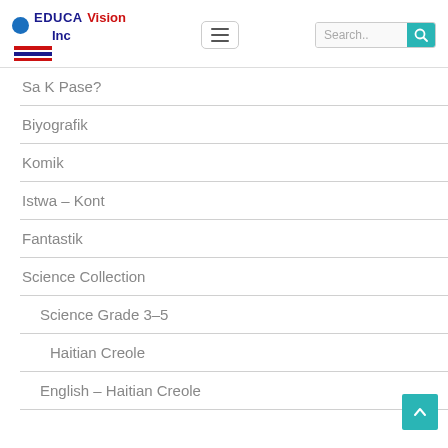EDUCA Vision Inc — navigation header with hamburger menu and search bar
Sa K Pase?
Biyografik
Komik
Istwa – Kont
Fantastik
Science Collection
Science Grade 3–5
Haitian Creole
English – Haitian Creole